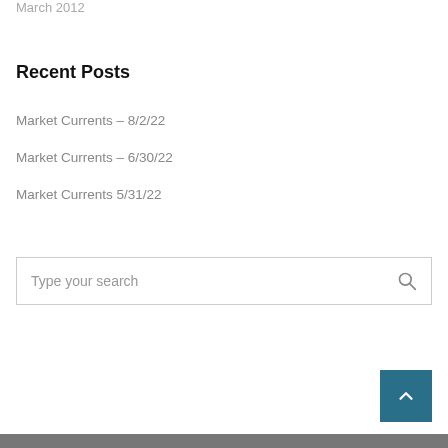March 2012
Recent Posts
Market Currents – 8/2/22
Market Currents – 6/30/22
Market Currents 5/31/22
Type your search